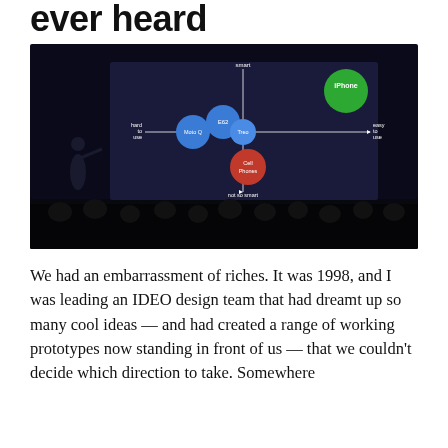ever heard
[Figure (photo): Steve Jobs presenting on stage at an Apple event, pointing to a large slide behind him showing a scatter-plot diagram with axes 'smart' (top) to 'not so smart' (bottom) and 'hard to use' (left) to 'easy to use' (right). Labeled bubbles: iPhone (green, top right), E62 (blue), Moto Q (blue), Treo (blue), Cell Phones (red, bottom center).]
We had an embarrassment of riches. It was 1998, and I was leading an IDEO design team that had dreamt up so many cool ideas — and had created a range of working prototypes now standing in front of us — that we couldn't decide which direction to take. Somewhere